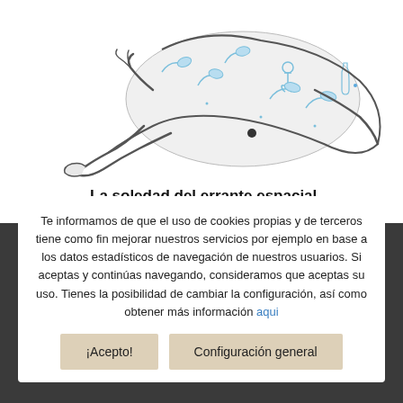[Figure (illustration): Drawing of a person sitting/reclining, wearing patterned clothing with blue floral/botanical and nautical motifs (anchors, leaves, bottles) on white fabric. Rendered in sketch style with blue ink patterns.]
La soledad del errante espacial
300€
Te informamos de que el uso de cookies propias y de terceros tiene como fin mejorar nuestros servicios por ejemplo en base a los datos estadísticos de navegación de nuestros usuarios. Si aceptas y continúas navegando, consideramos que aceptas su uso. Tienes la posibilidad de cambiar la configuración, así como obtener más información aqui
¡Acepto!
Configuración general